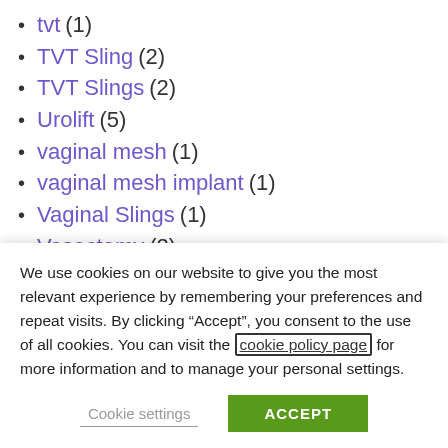tvt (1)
TVT Sling (2)
TVT Slings (2)
Urolift (5)
vaginal mesh (1)
vaginal mesh implant (1)
Vaginal Slings (1)
Vasectomy (2)
Vasectomy Pain (1)
We use cookies on our website to give you the most relevant experience by remembering your preferences and repeat visits. By clicking “Accept”, you consent to the use of all cookies. You can visit the cookie policy page for more information and to manage your personal settings.